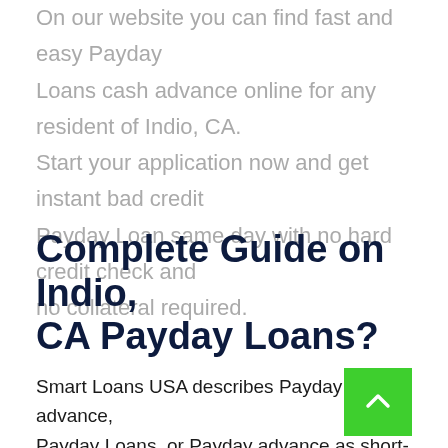On our website you can find fast and easy Payday Loans cash advance online for any resident of Indio, CA. Start your application now and get instant bad credit Payday Loan same day with no hard credit check and no collateral required.
Complete Guide on Indio, CA Payday Loans?
Smart Loans USA describes Payday cash advance, Payday Loans, or Payday advance as short-term financing up to $1000 available even for poor credit borrowers. Do not delay, your application will be processed the same day...